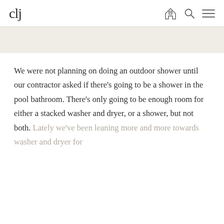clj
We were not planning on doing an outdoor shower until our contractor asked if there's going to be a shower in the pool bathroom. There's only going to be enough room for either a stacked washer and dryer, or a shower, but not both. Lately we've been leaning more and more towards washer and dryer for